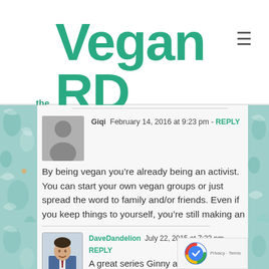the Vegan RD
Giqi  February 14, 2016 at 9:23 pm - REPLY
By being vegan you’re already being an activist. You can start your own vegan groups or just spread the word to family and/or friends. Even if you keep things to yourself, you’re still making an impact, honestly.
DaveDandelion  July 22, 2015 at 7:23 pm - REPLY
A great series Ginny and you capped it o…